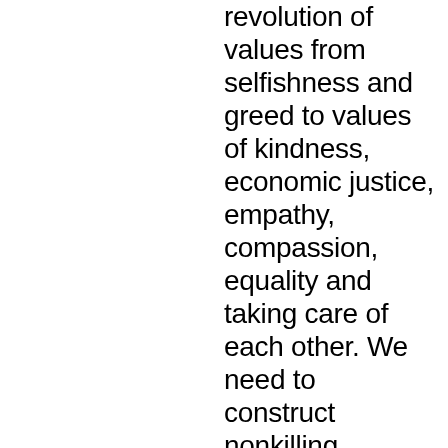revolution of values from selfishness and greed to values of kindness, economic justice, empathy, compassion, equality and taking care of each other. We need to construct nonkilling, nonviolent societies built on forgiveness (which is the key to peace). Only by dedicating our lives to building such a world, can we build a monument of love to all those who have died and all those on the